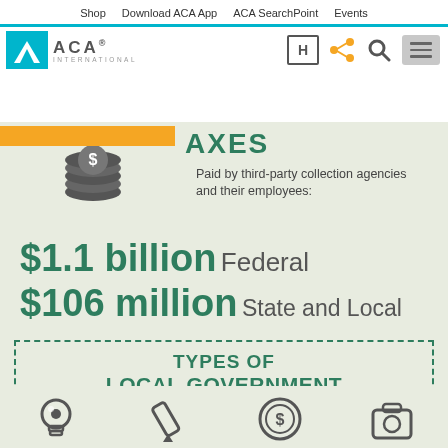Shop | Download ACA App | ACA SearchPoint | Events
[Figure (logo): ACA International logo with teal triangle and ACA text, plus nav icons (H, share, search, menu)]
[Figure (infographic): Infographic section showing TAXES paid by third-party collection agencies and their employees: $1.1 billion Federal, $106 million State and Local. Types of Local Government Debt Collected section with dashed border and arrows pointing down to icons at bottom.]